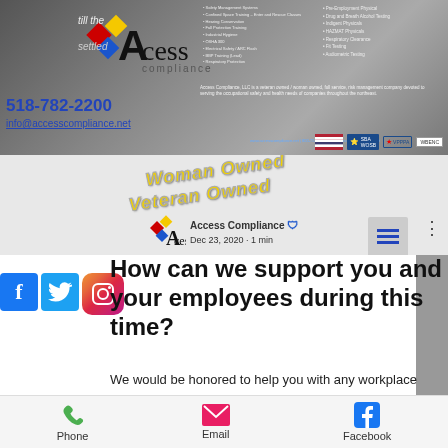[Figure (screenshot): Access Compliance website header banner with logo, service lists, and partner badges (SBA WOSB, VPPPA, WBENC)]
518-782-2200
info@accesscompliance.net
[Figure (screenshot): Social media post header with Access Compliance logo, Woman Owned / Veteran Owned yellow italic text, post date Dec 23, 2020 · 1 min, menu icon, and social media icons (Facebook, Twitter, Instagram)]
How can we support you and your employees during this time?
We would be honored to help you with any workplace health or safety needs you may have! #CoronavirusResources
Phone   Email   Facebook